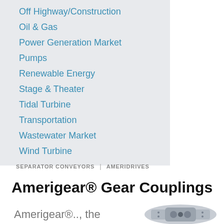Off Highway/Construction
Oil & Gas
Power Generation Market
Pumps
Renewable Energy
Stage & Theater
Tidal Turbine
Transportation
Wastewater Market
Wind Turbine
SEPARATOR CONVEYORS | AMERIDRIVES
Amerigear® Gear Couplings
Amerigear®.., the
[Figure (photo): Amerigear gear coupling product photo]